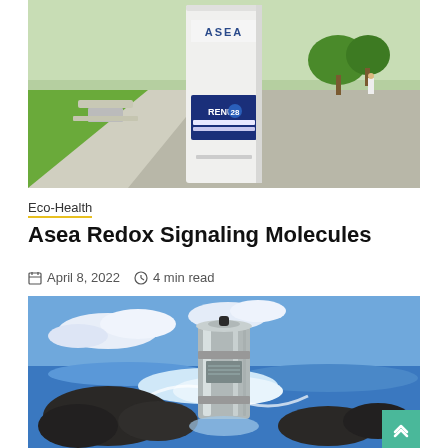[Figure (photo): ASEA RENU 28 skincare product box standing upright on a surface in a park with green grass and trees in the background]
Eco-Health
Asea Redox Signaling Molecules
April 8, 2022  4 min read
[Figure (photo): A shiny stainless steel water filter/container sitting on dark lava rocks with ocean waves crashing behind it under a blue sky with clouds]